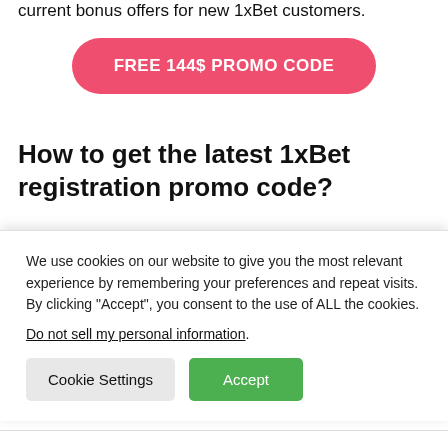current bonus offers for new 1xBet customers.
[Figure (other): Pink/red rounded button with text FREE 144$ PROMO CODE in white bold letters]
How to get the latest 1xBet registration promo code?
The most important part of welcome bonuses is the promo voucher that helps you get more for your first deposit. If you are reading this review, it means you picked the right place to look for a promo code.
We use cookies on our website to give you the most relevant experience by remembering your preferences and repeat visits. By clicking “Accept”, you consent to the use of ALL the cookies.
Do not sell my personal information.
Cookie Settings
Accept